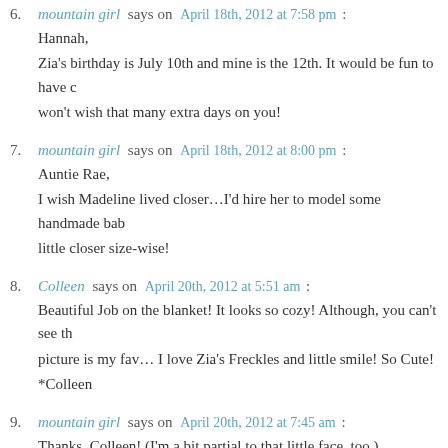6. mountain girl says on April 18th, 2012 at 7:58 pm : Hannah, Zia's birthday is July 10th and mine is the 12th. It would be fun to have c won't wish that many extra days on you!
7. mountain girl says on April 18th, 2012 at 8:00 pm : Auntie Rae, I wish Madeline lived closer…I'd hire her to model some handmade bab little closer size-wise!
8. Colleen says on April 20th, 2012 at 5:51 am : Beautiful Job on the blanket! It looks so cozy! Although, you can't see th picture is my fav… I love Zia's Freckles and little smile! So Cute! *Colleen
9. mountain girl says on April 20th, 2012 at 7:45 am : Thanks, Colleen! (I'm a bit partial to that little face, too.)
10. granny gardner says on April 22nd, 2012 at 6:11 pm : THAT CLOSE UP PICTURE OF ZIA WITH THE LOVELY SPRINKLE